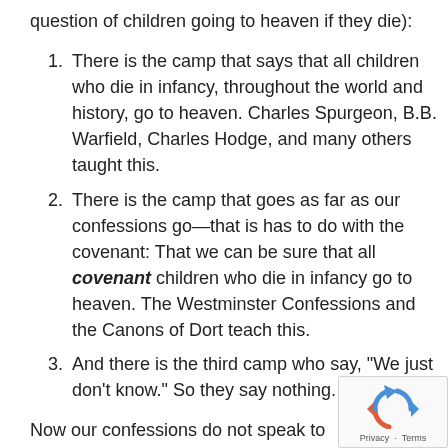question of children going to heaven if they die):
There is the camp that says that all children who die in infancy, throughout the world and history, go to heaven. Charles Spurgeon, B.B. Warfield, Charles Hodge, and many others taught this.
There is the camp that goes as far as our confessions go—that is has to do with the covenant: That we can be sure that all covenant children who die in infancy go to heaven. The Westminster Confessions and the Canons of Dort teach this.
And there is the third camp who say, "We just don't know." So they say nothing.
Now our confessions do not speak to